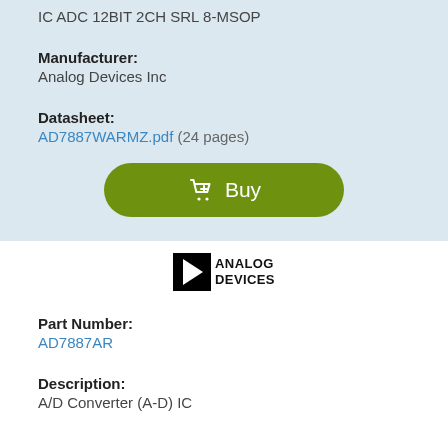IC ADC 12BIT 2CH SRL 8-MSOP
Manufacturer:
Analog Devices Inc
Datasheet:
AD7887WARMZ.pdf  (24 pages)
[Figure (other): Green Buy button with shopping cart icon and text 'Buy']
[Figure (logo): Analog Devices logo: black triangle play button icon with 'ANALOG DEVICES' text]
Part Number:
AD7887AR
Description:
A/D Converter (A-D) IC